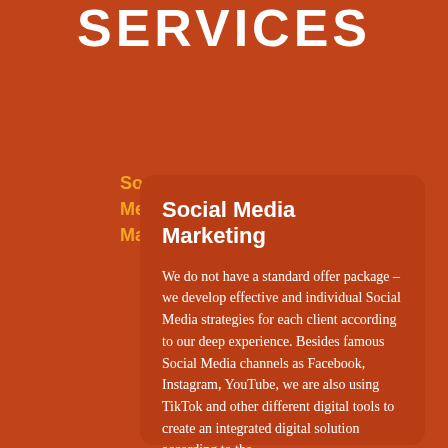SERVICES
Sosial
Media
Marketing
Social Media Marketing
We do not have a standard offer package – we develop effective and individual Social Media strategies for each client according to our deep experience. Besides famous Social Media channels as Facebook, Instagram, YouTube, we are also using TikTok and other different digital tools to create an integrated digital solution according to the